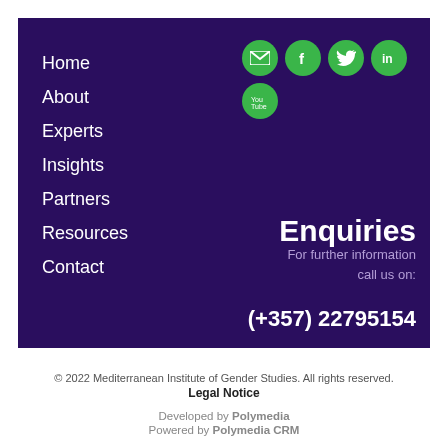Home
About
Experts
Insights
Partners
Resources
Contact
[Figure (illustration): Social media icon buttons: email, Facebook, Twitter, LinkedIn, YouTube — all green circles with white icons]
Enquiries
For further information call us on:
(+357) 22795154
© 2022 Mediterranean Institute of Gender Studies. All rights reserved. Legal Notice
Developed by Polymedia
Powered by Polymedia CRM